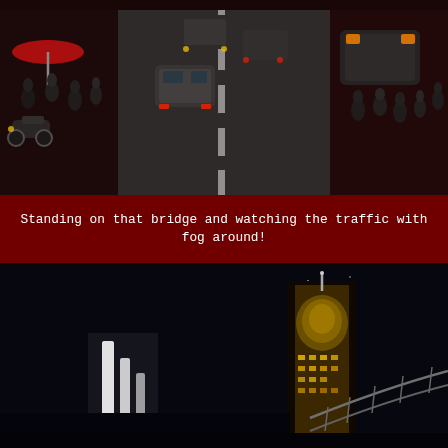[Figure (photo): Aerial view of busy city street traffic, people on sidewalks under umbrellas, cars, motorcycles, viewed from a bridge overhead at dusk or foggy conditions]
Standing on that bridge and watching the traffic with fog around!
[Figure (photo): Night cityscape photo looking up at tall illuminated building or tower structure against dark sky, taken from below]
Privacy & Cookies: This site uses cookies. By continuing to use this website, you agree to their use.
To find out more, including how to control cookies, see here: Cookie Policy
Close and accept